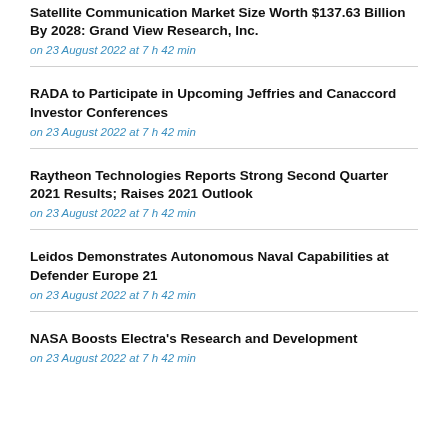Satellite Communication Market Size Worth $137.63 Billion By 2028: Grand View Research, Inc.
on 23 August 2022 at 7 h 42 min
RADA to Participate in Upcoming Jeffries and Canaccord Investor Conferences
on 23 August 2022 at 7 h 42 min
Raytheon Technologies Reports Strong Second Quarter 2021 Results; Raises 2021 Outlook
on 23 August 2022 at 7 h 42 min
Leidos Demonstrates Autonomous Naval Capabilities at Defender Europe 21
on 23 August 2022 at 7 h 42 min
NASA Boosts Electra's Research and Development
on 23 August 2022 at 7 h 42 min